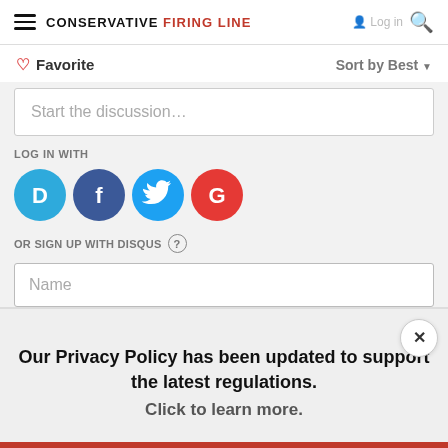CONSERVATIVE FIRING LINE
Favorite   Sort by Best
Start the discussion...
LOG IN WITH
[Figure (infographic): Social login icons: Disqus (D), Facebook (f), Twitter bird, Google (G)]
OR SIGN UP WITH DISQUS ?
Name
Our Privacy Policy has been updated to support the latest regulations. Click to learn more.